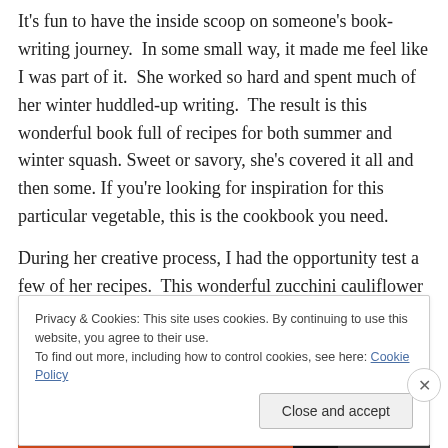It's fun to have the inside scoop on someone's book-writing journey.  In some small way, it made me feel like I was part of it.  She worked so hard and spent much of her winter huddled-up writing.  The result is this wonderful book full of recipes for both summer and winter squash.  Sweet or savory, she's covered it all and then some. If you're looking for inspiration for this particular vegetable, this is the cookbook you need.
During her creative process, I had the opportunity test a few of her recipes.  This wonderful zucchini cauliflower
Privacy & Cookies: This site uses cookies. By continuing to use this website, you agree to their use.
To find out more, including how to control cookies, see here: Cookie Policy